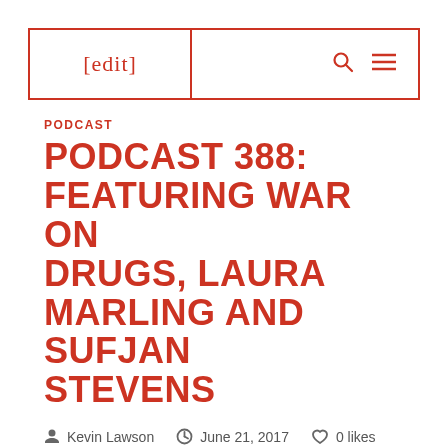[edit]
PODCAST
PODCAST 388: FEATURING WAR ON DRUGS, LAURA MARLING AND SUFJAN STEVENS
Kevin Lawson   June 21, 2017   0 likes
Recorded in temperatures that are “unfit for Irishmen” this week’s podcast is hosted by Tom Crook, Paul Whitty and Ben Smith, who brave the soaring heat to provide you with a ‘cast of even hotter